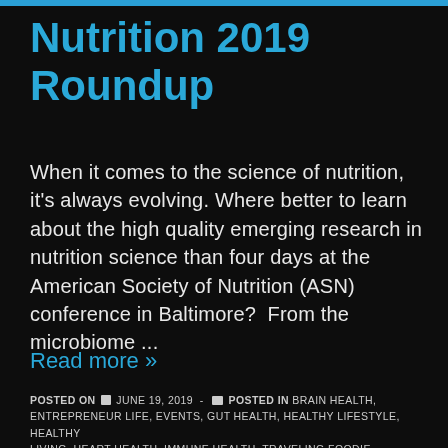Nutrition 2019 Roundup
When it comes to the science of nutrition, it's always evolving. Where better to learn about the high quality emerging research in nutrition science than four days at the American Society of Nutrition (ASN) conference in Baltimore?  From the microbiome ...
Read more »
POSTED ON  JUNE 19, 2019  -   POSTED IN BRAIN HEALTH, ENTREPRENEUR LIFE, EVENTS, GUT HEALTH, HEALTHY LIFESTYLE, HEALTHY LIVING, HEART HEALTH, IMMUNE HEALTH, TRAVELING FOODIE